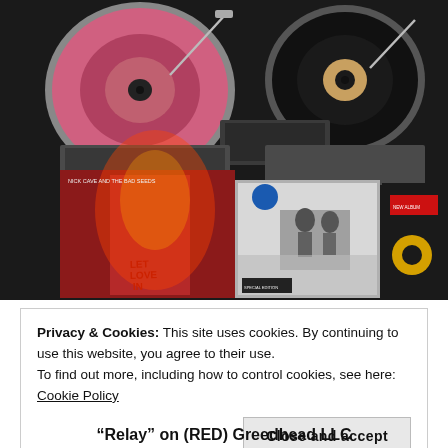[Figure (photo): Photo of two turntables with vinyl records and several album covers leaning against equipment, including Nick Cave and the Bad Seeds 'Let Love In' album prominently visible in red tones, plus two other albums.]
Privacy & Cookies: This site uses cookies. By continuing to use this website, you agree to their use.
To find out more, including how to control cookies, see here: Cookie Policy
Close and accept
“Relay” on (RED) Greedhead LLC